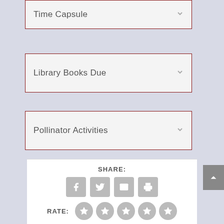Time Capsule
Library Books Due
Pollinator Activities
SHARE:
RATE: